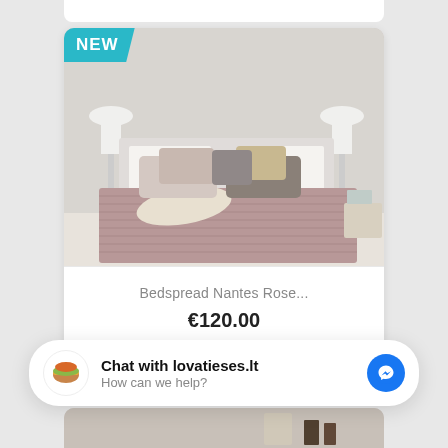[Figure (photo): Product photo of a pink/rose bedspread on a bed with decorative pillows, white pendant lamps on either side, with a NEW badge in teal on the top-left corner]
Bedspread Nantes Rose...
€120.00
[Figure (screenshot): Chat widget showing 'Chat with lovatieses.lt' and 'How can we help?' with Facebook Messenger icon]
[Figure (photo): Partial bottom image showing another product/room scene]